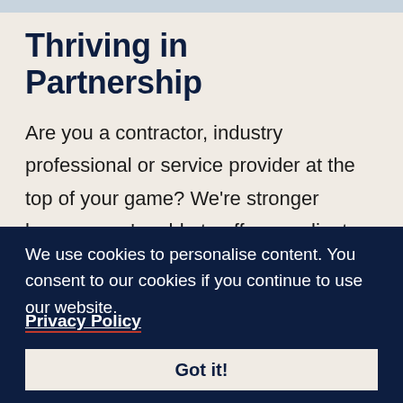Thriving in Partnership
Are you a contractor, industry professional or service provider at the top of your game? We're stronger because we're able to offer our clients access to the best the industry has to offer. And
We use cookies to personalise content. You consent to our cookies if you continue to use our website.
Privacy Policy
Got it!